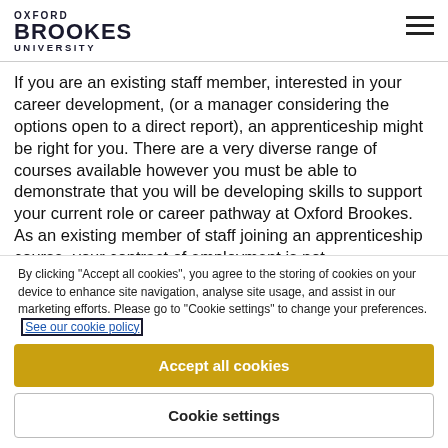Oxford Brookes University
If you are an existing staff member, interested in your career development, (or a manager considering the options open to a direct report), an apprenticeship might be right for you. There are a very diverse range of courses available however you must be able to demonstrate that you will be developing skills to support your current role or career pathway at Oxford Brookes. As an existing member of staff joining an apprenticeship course, your contract of employment is not
By clicking "Accept all cookies", you agree to the storing of cookies on your device to enhance site navigation, analyse site usage, and assist in our marketing efforts. Please go to "Cookie settings" to change your preferences. See our cookie policy
Accept all cookies
Cookie settings